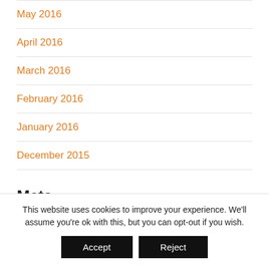May 2016
April 2016
March 2016
February 2016
January 2016
December 2015
Meta
Log in
This website uses cookies to improve your experience. We'll assume you're ok with this, but you can opt-out if you wish.
Accept  Reject